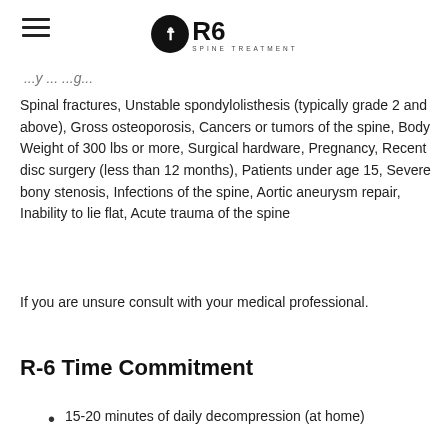R6 SPINE TREATMENT
Spinal fractures, Unstable spondylolisthesis (typically grade 2 and above), Gross osteoporosis, Cancers or tumors of the spine, Body Weight of 300 lbs or more, Surgical hardware, Pregnancy, Recent disc surgery (less than 12 months), Patients under age 15, Severe bony stenosis, Infections of the spine, Aortic aneurysm repair, Inability to lie flat, Acute trauma of the spine
If you are unsure consult with your medical professional.
R-6 Time Commitment
15-20 minutes of daily decompression (at home)